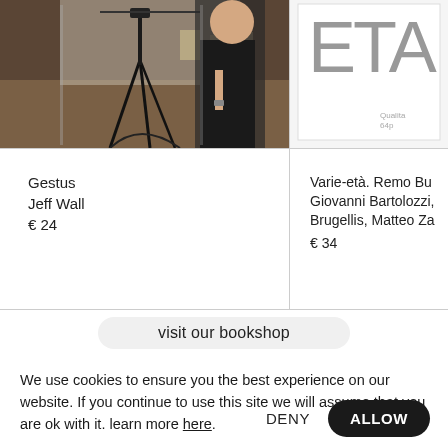[Figure (photo): Photo of a person standing near a camera tripod in an indoor space with wooden floors and chairs in the background]
[Figure (other): Book cover with large 'ETA' text in gray, with small text 'Qualita' and '64p' at bottom right]
Gestus
Jeff Wall
€ 24
Varie-età. Remo Bu Giovanni Bartolozzi, Brugellis, Matteo Za
€ 34
visit our bookshop
We use cookies to ensure you the best experience on our website. If you continue to use this site we will assume that you are ok with it. learn more here.
DENY
ALLOW